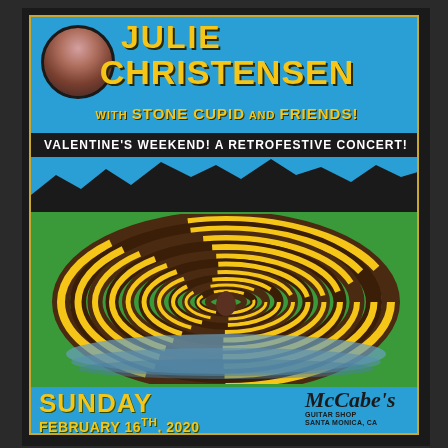[Figure (illustration): Concert poster for Julie Christensen with Stone Cupid and Friends. Features artist photo circle, psychedelic spiral tunnel illustration on green background, blue top and bottom sections with yellow/orange text, and McCabe's Guitar Shop logo.]
JULIE CHRISTENSEN
WITH STONE CUPID AND FRIENDS!
VALENTINE'S WEEKEND! A RETROFESTIVE CONCERT!
SUNDAY FEBRUARY 16TH, 2020
McCABE'S GUITAR SHOP